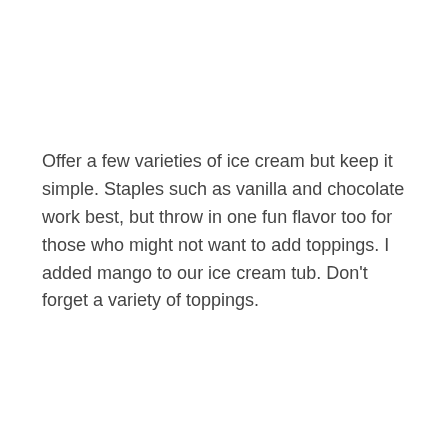Offer a few varieties of ice cream but keep it simple. Staples such as vanilla and chocolate work best, but throw in one fun flavor too for those who might not want to add toppings. I added mango to our ice cream tub. Don't forget a variety of toppings.